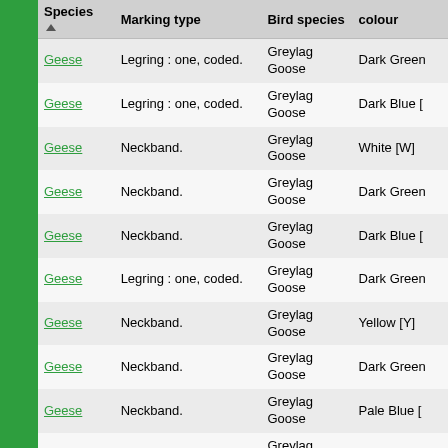| Species | Marking type | Bird species | colour |
| --- | --- | --- | --- |
| Geese | Legring : one, coded. | Greylag Goose | Dark Green |
| Geese | Legring : one, coded. | Greylag Goose | Dark Blue [ |
| Geese | Neckband. | Greylag Goose | White [W] |
| Geese | Neckband. | Greylag Goose | Dark Green |
| Geese | Neckband. | Greylag Goose | Dark Blue [ |
| Geese | Legring : one, coded. | Greylag Goose | Dark Green |
| Geese | Neckband. | Greylag Goose | Yellow [Y] |
| Geese | Neckband. | Greylag Goose | Dark Green |
| Geese | Neckband. | Greylag Goose | Pale Blue [ |
| Geese | Legring : one, coded. | Greylag Goose | Yellow [Y] |
| Geese | Neckband. | Greylag Goose | Silver/Grey |
| Geese | Neckband. | Greylag |  |